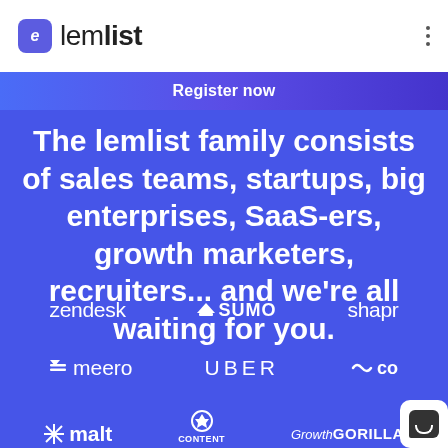lemlist
Register now
The lemlist family consists of sales teams, startups, big enterprises, SaaS-ers, growth marketers, recruiters... and we're all waiting for you.
[Figure (logo): Row of client logos: zendesk, SUMO (with crown icon), shapr]
[Figure (logo): Row of client logos: meero (with icon), UBER, co (with squiggle icon)]
[Figure (logo): Row of client logos: malt (with icon), CONTENT MAVERICKS (with icon), Growth GORILLA (script font)]